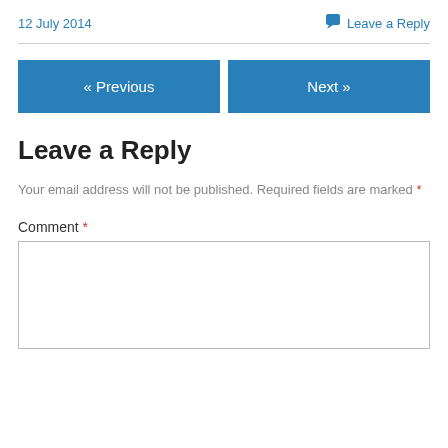12 July 2014
Leave a Reply
« Previous
Next »
Leave a Reply
Your email address will not be published. Required fields are marked *
Comment *